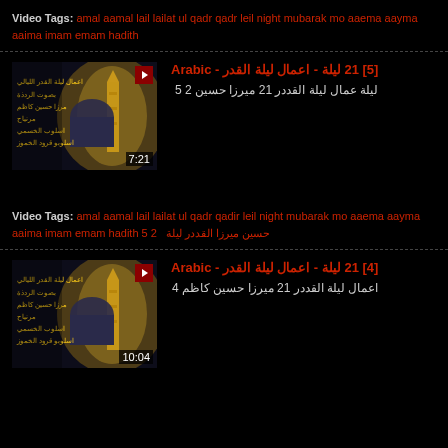Video Tags: amal aamal lail lailat ul qadr qadr leil night mubarak mo aaema aayma aaima imam emam hadith
[Figure (screenshot): Video thumbnail showing mosque minaret at night with Arabic text overlay, duration 7:21]
اعمال ليلة القدر - ليلة 21 [5] - Arabic
ليلة عمال ليلة القددر 21 ميرزا حسين 2 5
Video Tags: amal aamal lail lailat ul qadr qadir leil night mubarak mo aaema aayma aaima imam emam hadith 5  2  حسين ميرزا الفدر القددر ليلة
[Figure (screenshot): Video thumbnail showing mosque minaret at night with Arabic text overlay, duration 10:04]
اعمال ليلة القدر - ليلة 21 [4] - Arabic
اعمال ليلة القددر 21 ميرزا حسين كاظم 4